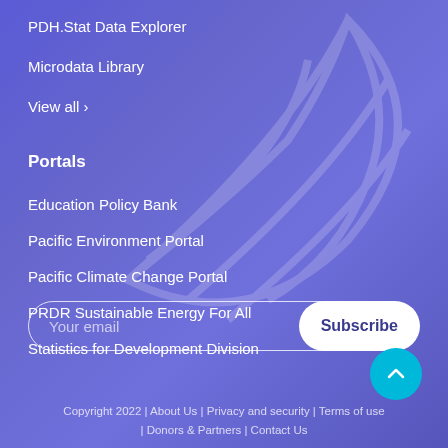PDH.Stat Data Explorer
Microdata Library
View all ›
Portals
Education Policy Bank
Pacific Environment Portal
Pacific Climate Change Portal
PRDR Sustainable Energy For All
Statistics for Development Division
Your email
Subscribe
Copyright 2022 | About Us | Privacy and security | Terms of use | Donors & Partners | Contact Us